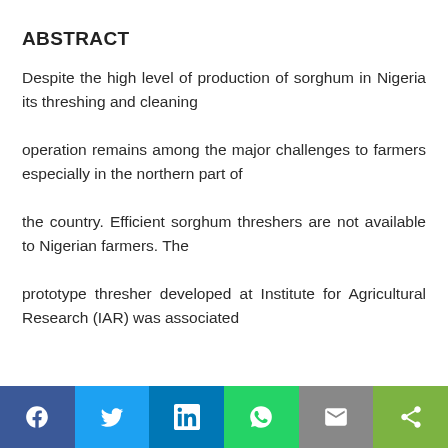ABSTRACT
Despite the high level of production of sorghum in Nigeria its threshing and cleaning operation remains among the major challenges to farmers especially in the northern part of the country. Efficient sorghum threshers are not available to Nigerian farmers. The prototype thresher developed at Institute for Agricultural Research (IAR) was associated